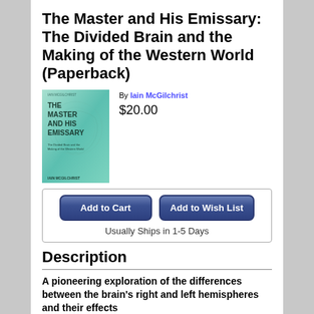The Master and His Emissary: The Divided Brain and the Making of the Western World (Paperback)
[Figure (illustration): Book cover of 'The Master and His Emissary' by Iain McGilchrist, teal/green gradient background with large text title and author name at bottom.]
By Iain McGilchrist
$20.00
Add to Cart
Add to Wish List
Usually Ships in 1-5 Days
Description
A pioneering exploration of the differences between the brain's right and left hemispheres and their effects